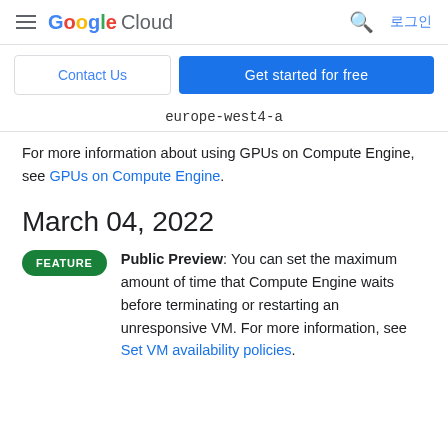Google Cloud — 로그인
Contact Us | Get started for free
europe-west4-a
For more information about using GPUs on Compute Engine, see GPUs on Compute Engine.
March 04, 2022
FEATURE — Public Preview: You can set the maximum amount of time that Compute Engine waits before terminating or restarting an unresponsive VM. For more information, see Set VM availability policies.